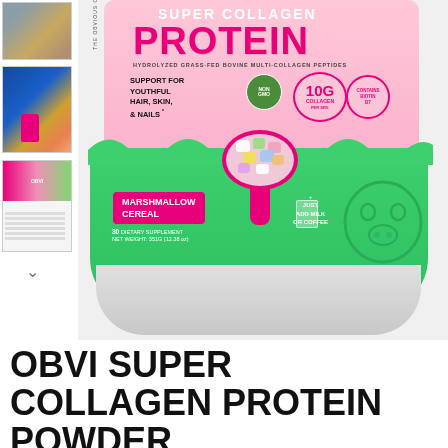[Figure (photo): Thumbnail image 1: product on a surface with dark background]
[Figure (photo): Thumbnail image 2: product with colorful background, blue and yellow tones]
[Figure (photo): Thumbnail image 3: product details/supplement facts]
[Figure (photo): Main product image: Obvi Super Collagen Protein Powder in Marshmallow Cereal flavor, pink and green container with spoon of marshmallows, 30 servings, 10g Collagen, Non-GMO, Hydrolyzed Grass-Fed Bovine Multi-Collagen Peptides, just add milk or coffee]
OBVI SUPER COLLAGEN PROTEIN POWDER MARSHMALLOW CEREAL,